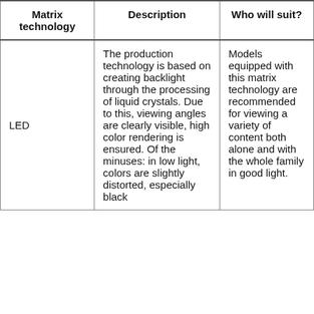| Matrix technology | Description | Who will suit? |
| --- | --- | --- |
| LED | The production technology is based on creating backlight through the processing of liquid crystals. Due to this, viewing angles are clearly visible, high color rendering is ensured. Of the minuses: in low light, colors are slightly distorted, especially black | Models equipped with this matrix technology are recommended for viewing a variety of content both alone and with the whole family in good light. |